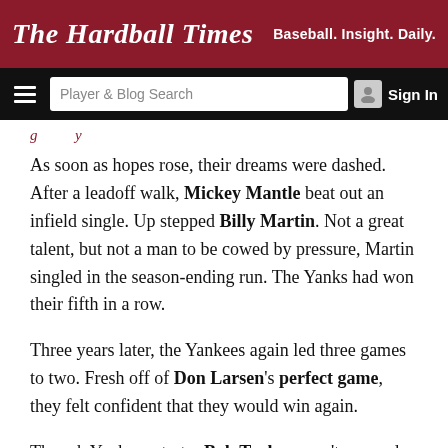The Hardball Times — Baseball. Insight. Daily.
As soon as hopes rose, their dreams were dashed. After a leadoff walk, Mickey Mantle beat out an infield single. Up stepped Billy Martin. Not a great talent, but not a man to be cowed by pressure, Martin singled in the season-ending run. The Yanks had won their fifth in a row.
Three years later, the Yankees again led three games to two. Fresh off of Don Larsen's perfect game, they felt confident that they would win again.
Though Yankees starter Bob Turley wasn't as good as Larsen